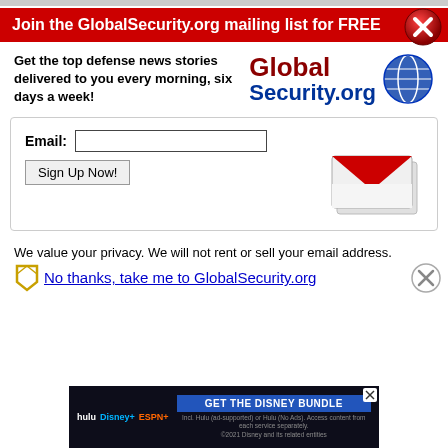[Figure (other): Red close/dismiss button (X icon) in top right corner]
Join the GlobalSecurity.org mailing list for FREE
Get the top defense news stories delivered to you every morning, six days a week!
[Figure (logo): GlobalSecurity.org logo with globe graphic]
Email: [input field] Sign Up Now! [button]
[Figure (illustration): Envelope/mail icon illustration]
We value your privacy. We will not rent or sell your email address.
No thanks, take me to GlobalSecurity.org
[Figure (screenshot): Disney Bundle advertisement banner at bottom]